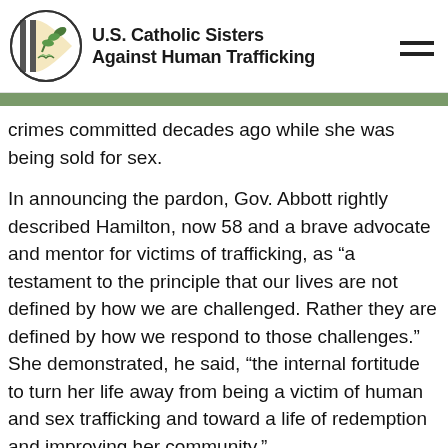U.S. Catholic Sisters Against Human Trafficking
crimes committed decades ago while she was being sold for sex.
In announcing the pardon, Gov. Abbott rightly described Hamilton, now 58 and a brave advocate and mentor for victims of trafficking, as “a testament to the principle that our lives are not defined by how we are challenged. Rather they are defined by how we respond to those challenges.” She demonstrated, he said, “the internal fortitude to turn her life away from being a victim of human and sex trafficking and toward a life of redemption and improving her community.”
So, we ask, who better than Hamilton to understand the legal